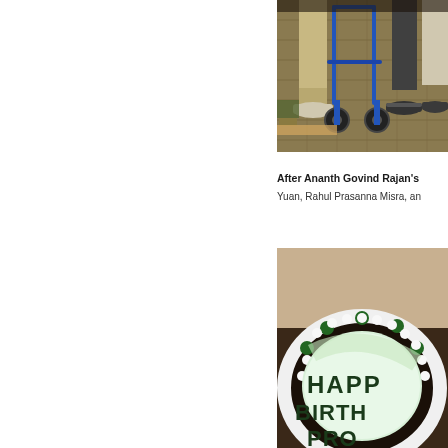[Figure (photo): Close-up photo of people's legs and feet standing on a mat, with a blue wheeled walker/rollator visible in the center]
After Ananth Govind Rajan's Yuan, Rahul Prasanna Misra, an
[Figure (photo): Close-up photo of a round cake with white frosting and green lettering reading 'HAPPY BIRTHDAY PRO...']